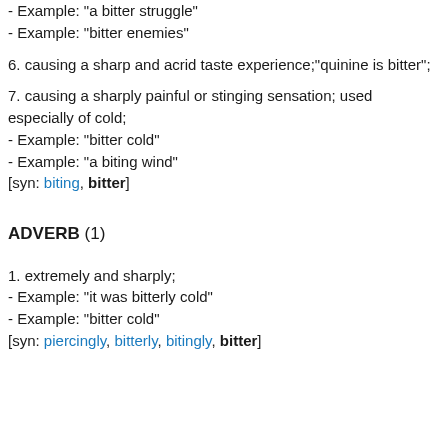- Example: "a bitter struggle"
- Example: "bitter enemies"
6. causing a sharp and acrid taste experience;"quinine is bitter";
7. causing a sharply painful or stinging sensation; used especially of cold;
- Example: "bitter cold"
- Example: "a biting wind"
[syn: biting, bitter]
ADVERB (1)
1. extremely and sharply;
- Example: "it was bitterly cold"
- Example: "bitter cold"
[syn: piercingly, bitterly, bitingly, bitter]